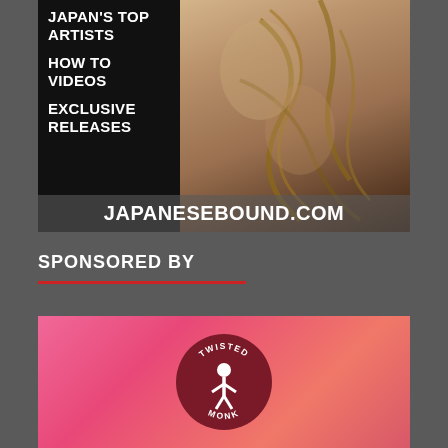[Figure (photo): Advertisement banner for japanesebound.com showing rope bondage photo with white text listing Japan's Top Artists, How To Videos, Exclusive Releases, and the website URL at the bottom]
SPONSORED BY
[Figure (logo): Twisted Monk logo — circular dark red badge with white figure on pink/red blurred background]